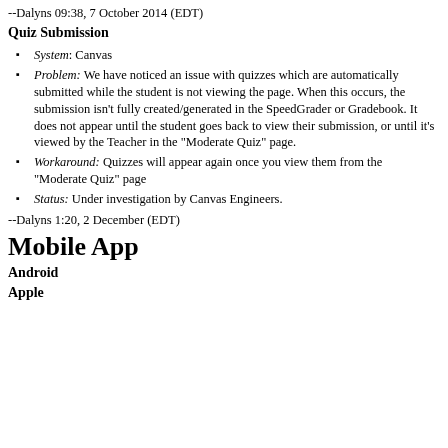--Dalyns 09:38, 7 October 2014 (EDT)
Quiz Submission
System: Canvas
Problem: We have noticed an issue with quizzes which are automatically submitted while the student is not viewing the page. When this occurs, the submission isn't fully created/generated in the SpeedGrader or Gradebook. It does not appear until the student goes back to view their submission, or until it's viewed by the Teacher in the "Moderate Quiz" page.
Workaround: Quizzes will appear again once you view them from the "Moderate Quiz" page
Status: Under investigation by Canvas Engineers.
--Dalyns 1:20, 2 December (EDT)
Mobile App
Android
Apple